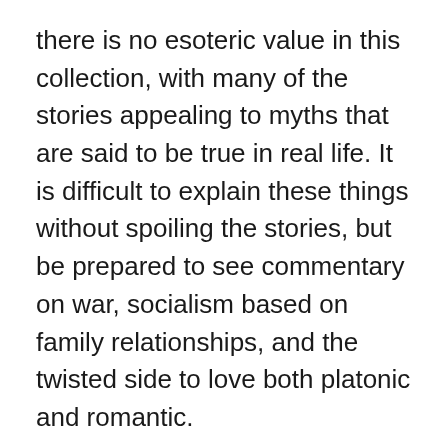there is no esoteric value in this collection, with many of the stories appealing to myths that are said to be true in real life. It is difficult to explain these things without spoiling the stories, but be prepared to see commentary on war, socialism based on family relationships, and the twisted side to love both platonic and romantic.
I was creeped out yet glued to each story, wanting to see not only how these horrors began but also where they would lead and if any of the stories had at least a happier ending than the story before it. The flagship short story is called Deserter and was definitely worth being the name of the